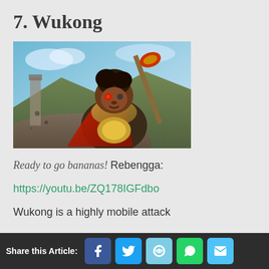7. Wukong
[Figure (photo): Wukong character art from a game — a monkey warrior holding a staff, wearing red cape and golden armor, set against a mountain landscape background]
Ready to go bananas!
Rebengga:
https://youtu.be/ZQ178IGFdbo
Wukong is a highly mobile attack
Share this Article: [Facebook] [Twitter] [Reddit] [WhatsApp] [Email]